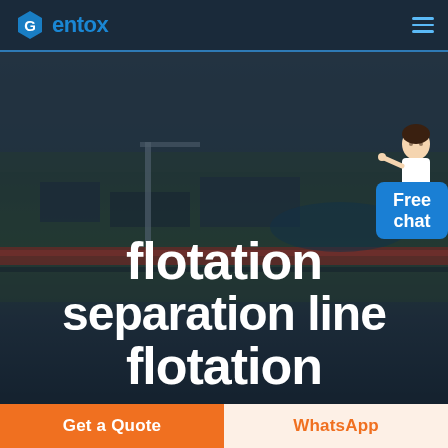Gentox - flotation separation line flotation
[Figure (photo): Aerial photograph of an industrial flotation separation facility with large tanks and conveyor infrastructure, overlaid with dark tint. A customer service representative figure is shown in the upper right corner next to a 'Free chat' blue button.]
flotation separation line flotation
Free chat
Get a Quote
WhatsApp